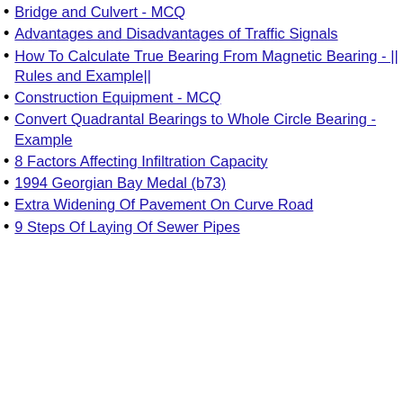Bridge and Culvert - MCQ
Advantages and Disadvantages of Traffic Signals
How To Calculate True Bearing From Magnetic Bearing - || Rules and Example||
Construction Equipment - MCQ
Convert Quadrantal Bearings to Whole Circle Bearing - Example
8 Factors Affecting Infiltration Capacity
1994 Georgian Bay Medal (b73)
Extra Widening Of Pavement On Curve Road
9 Steps Of Laying Of Sewer Pipes